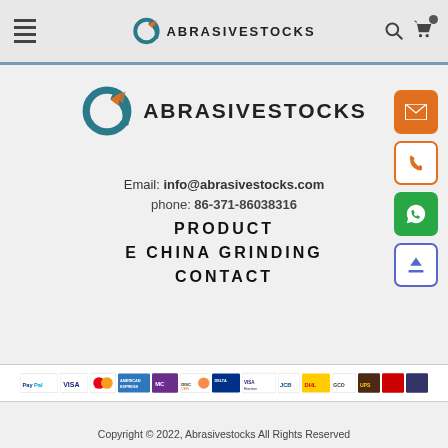ABRASIVESTOCKS
[Figure (logo): Abrasivestocks logo with circular teal/orange icon and bold text ABRASIVESTOCKS]
Email: info@abrasivestocks.com
phone: 86-371-86038316
PRODUCT
E CHINA GRINDING
CONTACT
[Figure (infographic): Payment method logos strip: PayPal, Visa, Mastercard, American Express, Discover, Delta, Visa Electron, JCB, DHL, GCO, UPS, and more]
Copyright © 2022, Abrasivestocks All Rights Reserved